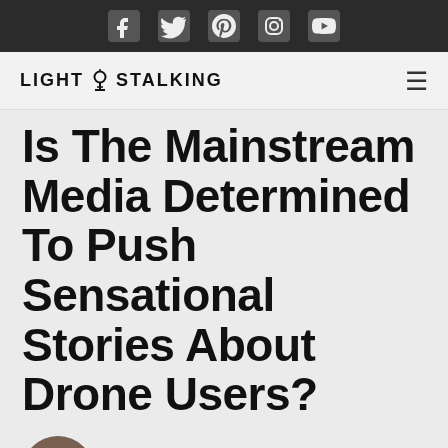[Figure (other): Dark top bar with social media icons: Facebook, Twitter, Pinterest, Instagram, YouTube]
LIGHT STALKING
Is The Mainstream Media Determined To Push Sensational Stories About Drone Users?
[Figure (photo): Circular avatar photo of author Kehl Bayern, a man with medium-length brown hair]
PHOTOGRAPHY NEWS
By Kehl Bayern / May 20, 2018